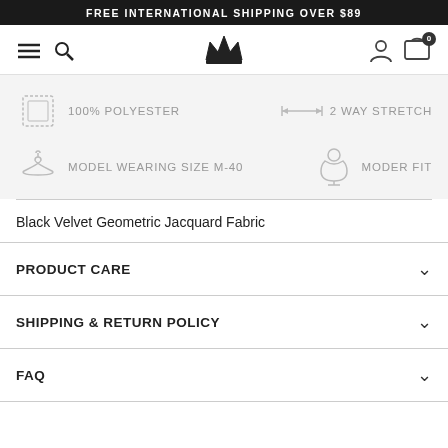FREE INTERNATIONAL SHIPPING OVER $89
[Figure (screenshot): E-commerce navigation bar with hamburger menu, search icon, crown logo, user account icon, and shopping cart with 0 badge]
[Figure (infographic): Product feature icons: fabric swatch with 100% POLYESTER, stretch arrows with 2 WAY STRETCH, hanger with MODEL WEARING SIZE M-40, dress form with MODER FIT]
Black Velvet Geometric Jacquard Fabric
PRODUCT CARE
SHIPPING & RETURN POLICY
FAQ